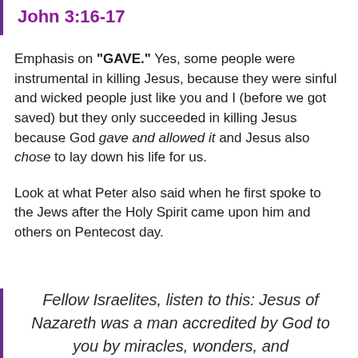John 3:16-17
Emphasis on "GAVE." Yes, some people were instrumental in killing Jesus, because they were sinful and wicked people just like you and I (before we got saved) but they only succeeded in killing Jesus because God gave and allowed it and Jesus also chose to lay down his life for us.
Look at what Peter also said when he first spoke to the Jews after the Holy Spirit came upon him and others on Pentecost day.
Fellow Israelites, listen to this: Jesus of Nazareth was a man accredited by God to you by miracles, wonders, and